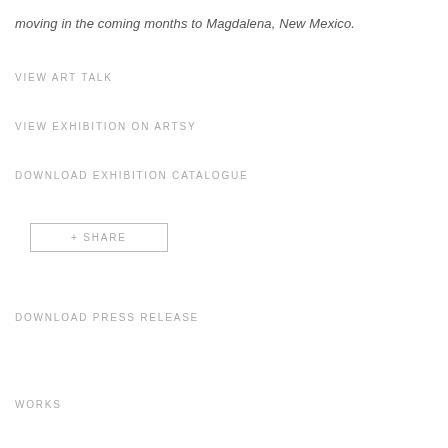moving in the coming months to Magdalena, New Mexico.
VIEW ART TALK
VIEW EXHIBITION ON ARTSY
DOWNLOAD EXHIBITION CATALOGUE
+ SHARE
DOWNLOAD PRESS RELEASE
WORKS